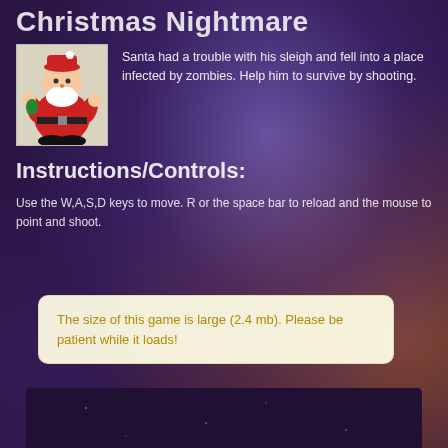Christmas Nightmare
[Figure (illustration): Pixel-art style illustration of Santa Claus in red suit with white beard, arms raised, on a light background]
Santa had a trouble with his sleigh and fell into a place infected by zombies. Help him to survive by shooting.
Instructions/Controls:
Use the W,A,S,D keys to move. R or the space bar to reload and the mouse to point and shoot.
The size of this game is large (2.4 mb). Please be patient while it loads!
[Figure (screenshot): Dark purple/space-themed background panel at the bottom of the page, appears to be a game loading area]